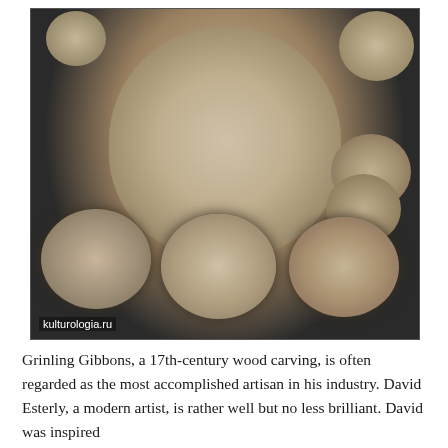[Figure (photo): A highly detailed wood carving sculpture of a human face and bust covered in intricate floral decorations — roses, carnations, and peonies — in cream and beige tones against a dark background. Watermark reads 'kulturologia.ru' at bottom left.]
Grinling Gibbons, a 17th-century wood carving, is often regarded as the most accomplished artisan in his industry. David Esterly, a modern artist, is rather well but no less brilliant. David was inspired